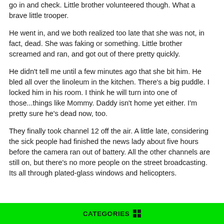go in and check. Little brother volunteered though. What a brave little trooper.
He went in, and we both realized too late that she was not, in fact, dead. She was faking or something. Little brother screamed and ran, and got out of there pretty quickly.
He didn't tell me until a few minutes ago that she bit him. He bled all over the linoleum in the kitchen. There's a big puddle. I locked him in his room. I think he will turn into one of those...things like Mommy. Daddy isn't home yet either. I'm pretty sure he's dead now, too.
They finally took channel 12 off the air. A little late, considering the sick people had finished the news lady about five hours before the camera ran out of battery. All the other channels are still on, but there's no more people on the street broadcasting. Its all through plated-glass windows and helicopters.
CATEGORIES